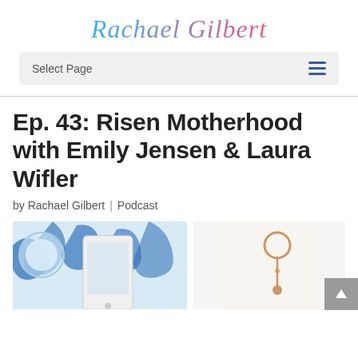Rachael Gilbert
Select Page
Ep. 43: Risen Motherhood with Emily Jensen & Laura Wifler
by Rachael Gilbert | Podcast
[Figure (photo): Photo of a blue and white patterned fabric with a glass cup, a smartphone showing a podcast episode, and a gold earring on a white background — two partial photos side by side]